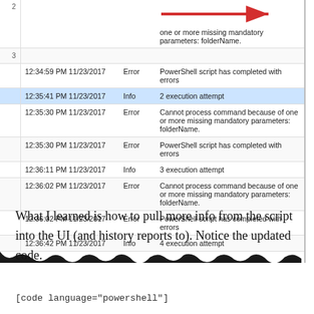[Figure (screenshot): Partial screenshot of a log/history table showing timestamps, log levels (Error/Info), and messages about PowerShell script execution attempts and errors. A red arrow points to a message about missing mandatory parameters: folderName.]
What I learned is how to pull more info from the script into the UI (and history reports to). Notice the updated code.
[code language="powershell"]